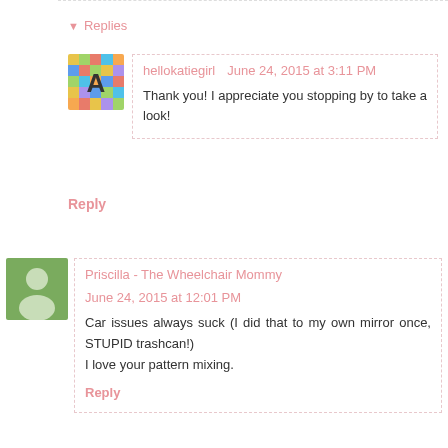▾ Replies
hellokatiegirl   June 24, 2015 at 3:11 PM
Thank you! I appreciate you stopping by to take a look!
Reply
Priscilla - The Wheelchair Mommy   June 24, 2015 at 12:01 PM
Car issues always suck (I did that to my own mirror once, STUPID trashcan!)
I love your pattern mixing.
Reply